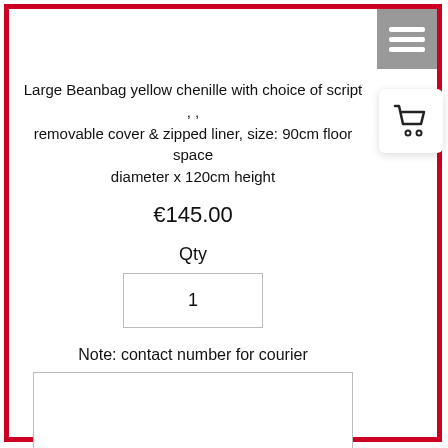Large Beanbag yellow chenille with choice of script , , removable cover & zipped liner, size: 90cm floor space diameter x 120cm height
€145.00
Qty
1
Note: contact number for courier
Add to cart